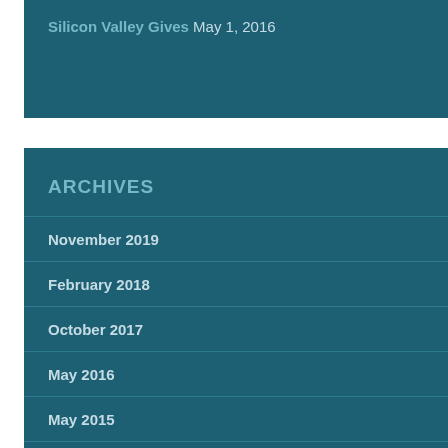Silicon Valley Gives May 1, 2016
ARCHIVES
November 2019
February 2018
October 2017
May 2016
May 2015
December 2014